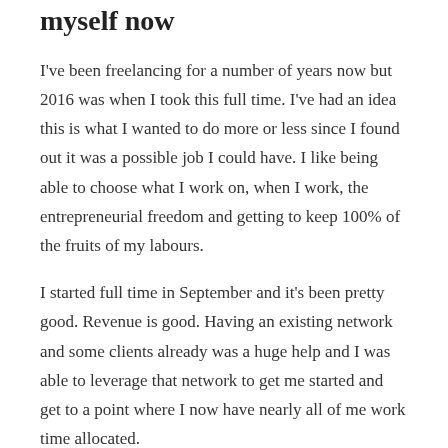myself now
I've been freelancing for a number of years now but 2016 was when I took this full time. I've had an idea this is what I wanted to do more or less since I found out it was a possible job I could have. I like being able to choose what I work on, when I work, the entrepreneurial freedom and getting to keep 100% of the fruits of my labours.
I started full time in September and it's been pretty good. Revenue is good. Having an existing network and some clients already was a huge help and I was able to leverage that network to get me started and get to a point where I now have nearly all of me work time allocated.